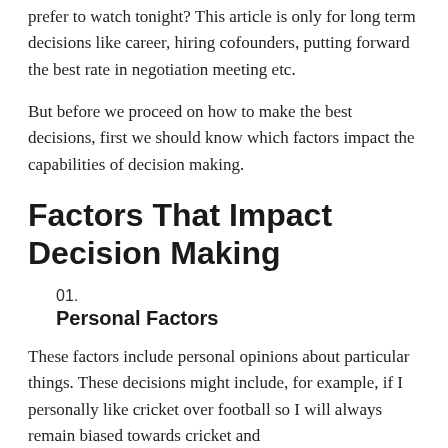prefer to watch tonight? This article is only for long term decisions like career, hiring cofounders, putting forward the best rate in negotiation meeting etc.
But before we proceed on how to make the best decisions, first we should know which factors impact the capabilities of decision making.
Factors That Impact Decision Making
01.
Personal Factors
These factors include personal opinions about particular things. These decisions might include, for example, if I personally like cricket over football so I will always remain biased towards cricket and